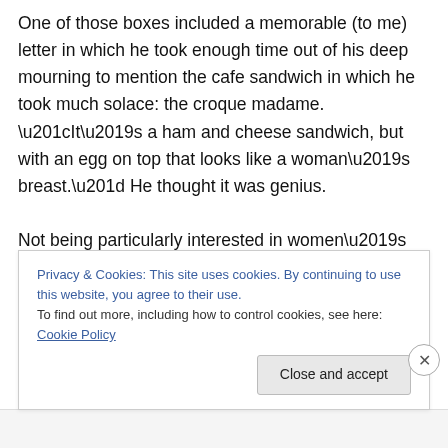One of those boxes included a memorable (to me) letter in which he took enough time out of his deep mourning to mention the cafe sandwich in which he took much solace: the croque madame. “It’s a ham and cheese sandwich, but with an egg on top that looks like a woman’s breast.” He thought it was genius.

Not being particularly interested in women’s breasts or egg sandwiches, I opted instead to try my had at making eggless croques messieurs (I am uncertain if this is the correct plural of croque monsieur but I’m going with it).
Privacy & Cookies: This site uses cookies. By continuing to use this website, you agree to their use.
To find out more, including how to control cookies, see here: Cookie Policy